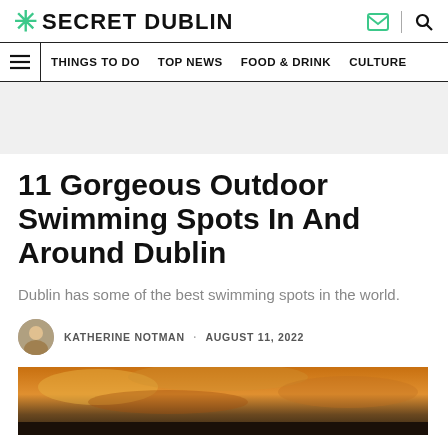* SECRET DUBLIN
THINGS TO DO  TOP NEWS  FOOD & DRINK  CULTURE
11 Gorgeous Outdoor Swimming Spots In And Around Dublin
Dublin has some of the best swimming spots in the world.
KATHERINE NOTMAN · AUGUST 11, 2022
[Figure (photo): Hero image showing a dramatic sunset sky with orange and gold clouds over water]